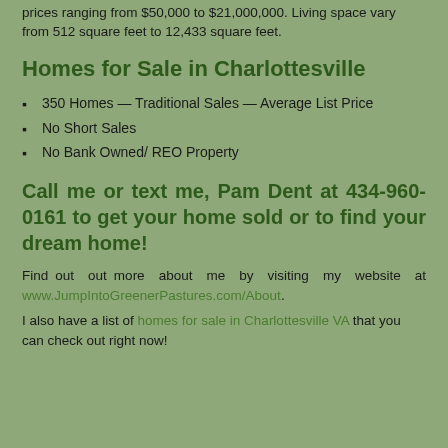prices ranging from $50,000 to $21,000,000. Living space vary from 512 square feet to 12,433 square feet.
Homes for Sale in Charlottesville
350 Homes — Traditional Sales — Average List Price
No Short Sales
No Bank Owned/ REO Property
Call me or text me, Pam Dent at 434-960-0161 to get your home sold or to find your dream home!
Find out more about me by visiting my website at www.JumpIntoGreenerPastures.com/About.
I also have a list of homes for sale in Charlottesville VA that you can check out right now!